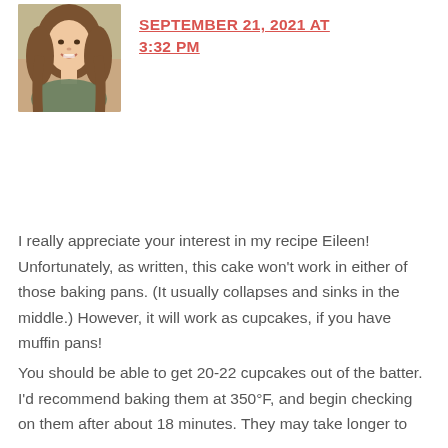[Figure (photo): Profile photo of a young woman with long brown hair, smiling, photographed outdoors]
SEPTEMBER 21, 2021 AT 3:32 PM
I really appreciate your interest in my recipe Eileen! Unfortunately, as written, this cake won't work in either of those baking pans. (It usually collapses and sinks in the middle.) However, it will work as cupcakes, if you have muffin pans!
You should be able to get 20-22 cupcakes out of the batter. I'd recommend baking them at 350°F, and begin checking on them after about 18 minutes. They may take longer to